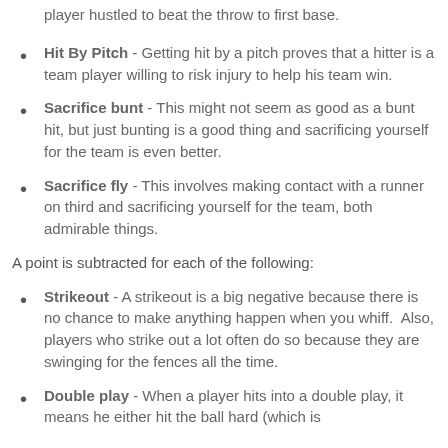player hustled to beat the throw to first base.
Hit By Pitch - Getting hit by a pitch proves that a hitter is a team player willing to risk injury to help his team win.
Sacrifice bunt - This might not seem as good as a bunt hit, but just bunting is a good thing and sacrificing yourself for the team is even better.
Sacrifice fly - This involves making contact with a runner on third and sacrificing yourself for the team, both admirable things.
A point is subtracted for each of the following:
Strikeout - A strikeout is a big negative because there is no chance to make anything happen when you whiff.  Also, players who strike out a lot often do so because they are swinging for the fences all the time.
Double play - When a player hits into a double play, it means he either hit the ball hard (which is